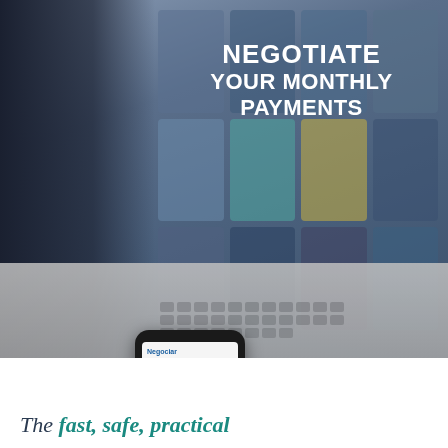[Figure (photo): Photo of a laptop screen showing a marketplace/e-commerce website with a smartphone propped up in front displaying a debt negotiation app called 'Negociar Mensalidades' with an 'Autoatendimento' login screen. The scene has a dark blue overlay on the left side.]
NEGOTIATE YOUR MONTHLY PAYMENTS
The fast, safe, practical